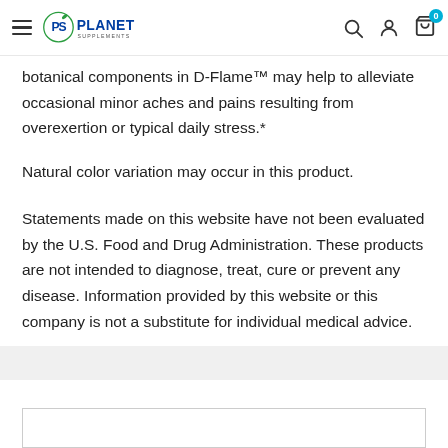Planet Supplements - navigation header with logo, search, account, and cart icons
botanical components in D-Flame™ may help to alleviate occasional minor aches and pains resulting from overexertion or typical daily stress.*
Natural color variation may occur in this product.
Statements made on this website have not been evaluated by the U.S. Food and Drug Administration. These products are not intended to diagnose, treat, cure or prevent any disease. Information provided by this website or this company is not a substitute for individual medical advice.